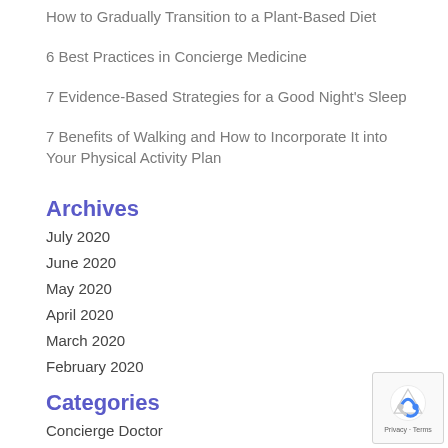How to Gradually Transition to a Plant-Based Diet
6 Best Practices in Concierge Medicine
7 Evidence-Based Strategies for a Good Night's Sleep
7 Benefits of Walking and How to Incorporate It into Your Physical Activity Plan
Archives
July 2020
June 2020
May 2020
April 2020
March 2020
February 2020
Categories
Concierge Doctor